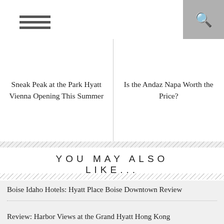Sneak Peak at the Park Hyatt Vienna Opening This Summer
Is the Andaz Napa Worth the Price?
YOU MAY ALSO LIKE...
Boise Idaho Hotels: Hyatt Place Boise Downtown Review
Review: Harbor Views at the Grand Hyatt Hong Kong
How You Can Help California Fire Relief Efforts